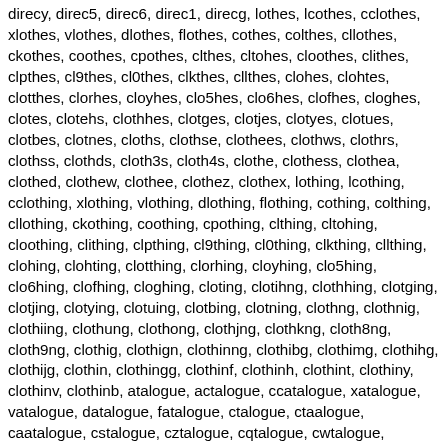direcy, direc5, direc6, direc1, direcg, lothes, lcothes, cclothes, xlothes, vlothes, dlothes, flothes, cothes, colthes, cllothes, ckothes, coothes, cpothes, clthes, cltohes, cloothes, clithes, clpthes, cl9thes, cl0thes, clkthes, cllthes, clohes, clohtes, clotthes, clorhes, cloyhes, clo5hes, clo6hes, clofhes, cloghes, clotes, clotehs, clothhes, clotges, clotjes, clotyes, clotues, clotbes, clotnes, cloths, clothse, clothees, clothws, clothrs, clothss, clothds, cloth3s, cloth4s, clothe, clothess, clothea, clothed, clothew, clothee, clothez, clothex, lothing, lcothing, cclothing, xlothing, vlothing, dlothing, flothing, cothing, colthing, cllothing, ckothing, coothing, cpothing, clthing, cltohing, cloothing, clithing, clpthing, cl9thing, cl0thing, clkthing, cllthing, clohing, clohting, clotthing, clorhing, cloyhing, clo5hing, clo6hing, clofhing, cloghing, cloting, clotihng, clothhing, clotging, clotjing, clotying, clotuing, clotbing, clotning, clothng, clothnig, clothiing, clothung, clothong, clothjng, clothkng, cloth8ng, cloth9ng, clothig, clothign, clothinng, clothibg, clothimg, clothihg, clothijg, clothin, clothingg, clothinf, clothinh, clothint, clothiny, clothinv, clothinb, atalogue, actalogue, ccatalogue, xatalogue, vatalogue, datalogue, fatalogue, ctalogue, ctaalogue, caatalogue, cstalogue, cztalogue, cqtalogue, cwtalogue, caalogue, caatlogue, cattalogue, caralogue, cayalogue, ca5alogue, ca6alogue, cafalogue, cagalogue, catlogue, catlaogue, cataalogue, catslogue, catzlogue, catqlogue, catwlogue, cataogue, cataolgue, catallogue, catakogue, cataoogue, catapogue, catalgue, catalgoue, cataloogue, cataligue, catalpgue, catal9gue, catal0gue, catalkgue, catallgue, cataloue,